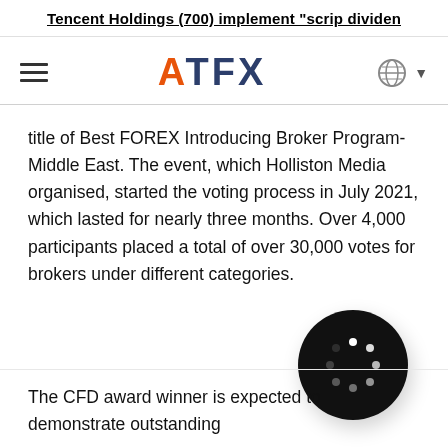Tencent Holdings (700) implement "scrip dividen
[Figure (logo): ATFX logo with navigation hamburger menu on left and globe/dropdown on right]
title of Best FOREX Introducing Broker Program-Middle East. The event, which Holliston Media organised, started the voting process in July 2021, which lasted for nearly three months. Over 4,000 participants placed a total of over 30,000 votes for brokers under different categories.
[Figure (other): Loading spinner icon: black circle with white dots arranged in a circle pattern]
The CFD award winner is expected to demonstrate outstanding